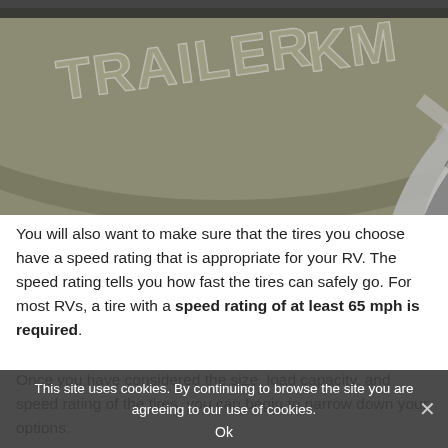[Figure (photo): Close-up photo of a tire sidewall showing embossed lettering 'TRAILER KM' on a worn tire, with a silver wheel rim visible in the lower right portion of the image.]
You will also want to make sure that the tires you choose have a speed rating that is appropriate for your RV. The speed rating tells you how fast the tires can safely go. For most RVs, a tire with a speed rating of at least 65 mph is required.
Once you have considered the size, load capacity, and speed rating of the tires, you can begin to narrow down your options.
This site uses cookies. By continuing to browse the site you are agreeing to our use of cookies.
Ok